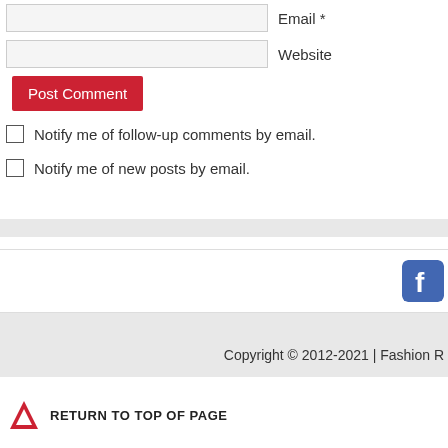Email *
Website
Post Comment
Notify me of follow-up comments by email.
Notify me of new posts by email.
[Figure (logo): Facebook icon button]
Copyright © 2012-2021 | Fashion R
RETURN TO TOP OF PAGE